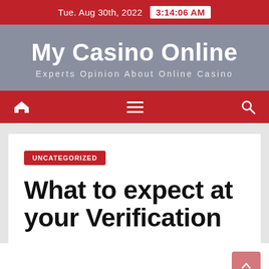Tue. Aug 30th, 2022  3:14:06 AM
My Casino Online
Experts Opinion About Online Casino
[Figure (screenshot): Navigation bar with home icon, hamburger menu icon, and search icon on red background]
UNCATEGORIZED
What to expect at your Verification